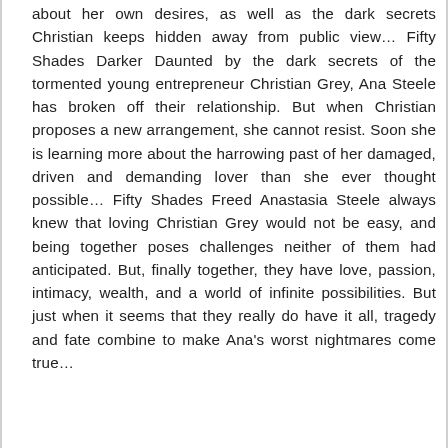about her own desires, as well as the dark secrets Christian keeps hidden away from public view… Fifty Shades Darker Daunted by the dark secrets of the tormented young entrepreneur Christian Grey, Ana Steele has broken off their relationship. But when Christian proposes a new arrangement, she cannot resist. Soon she is learning more about the harrowing past of her damaged, driven and demanding lover than she ever thought possible… Fifty Shades Freed Anastasia Steele always knew that loving Christian Grey would not be easy, and being together poses challenges neither of them had anticipated. But, finally together, they have love, passion, intimacy, wealth, and a world of infinite possibilities. But just when it seems that they really do have it all, tragedy and fate combine to make Ana's worst nightmares come true…